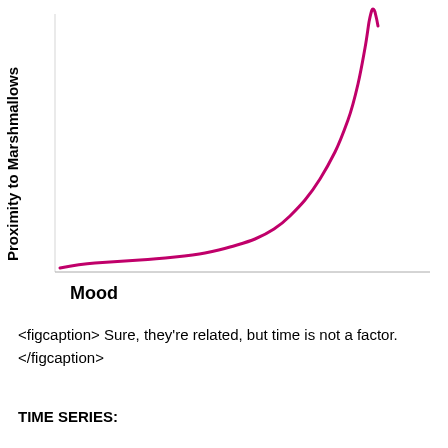[Figure (continuous-plot): A continuous rising curve chart with x-axis labeled 'Mood' and y-axis labeled 'Proximity to Marshmallows'. The pink/crimson curve starts at lower-left and rises steeply toward the upper-right, showing an exponential-like growth pattern.]
<figcaption> Sure, they're related, but time is not a factor. </figcaption>
TIME SERIES: